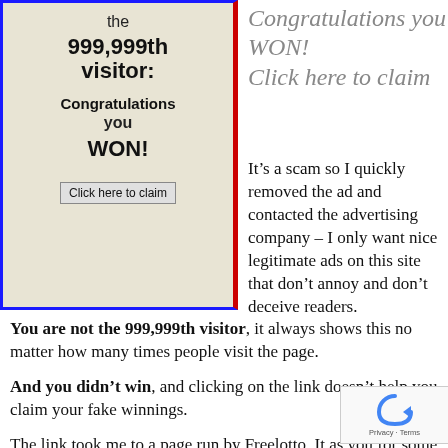[Figure (screenshot): Scam ad banner with beige background, blue/red border, text reading 'the 999,999th visitor: Congratulations you WON!' with a 'Click here to claim' button]
Congratulations you WON! Click here to claim
It’s a scam so I quickly removed the ad and contacted the advertising company – I only want nice legitimate ads on this site that don’t annoy and don’t deceive readers.
You are not the 999,999th visitor, it always shows this no matter how many times people visit the page.
And you didn’t win, and clicking on the link doesn’t help you claim your fake winnings.
The link took me to a page run by Freelotto. It as you for some personal details, and again has a
[Figure (logo): reCAPTCHA badge with circular arrow icon and Privacy · Terms text]